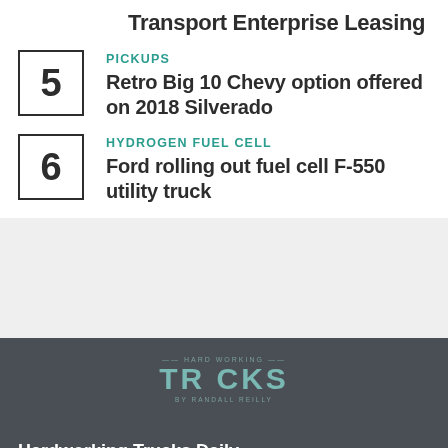Transport Enterprise Leasing
PICKUPS
Retro Big 10 Chevy option offered on 2018 Silverado
HYDROGEN FUEL CELL
Ford rolling out fuel cell F-550 utility truck
[Figure (logo): Hardworking Trucks by Randall Reilly logo in teal/gray on dark background]
Hardworking Trucks Daily